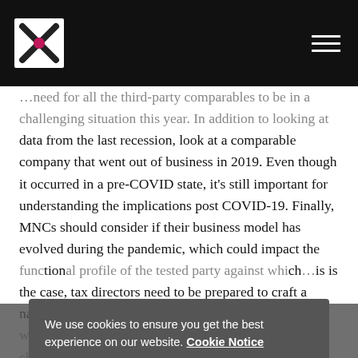...need for all the third-party comparables to be in a challenging situation this year. In addition to looking at data from the last recession, look at a comparable company that went out of business in 2019. Even though it occurred in a pre-COVID state, it's still important for understanding the implications post COVID-19. Finally, MNCs should consider if their business model has evolved during the pandemic, which could impact the functional profile of the tested party against which comparables are benchmarked. If this is the case, tax directors need to be prepared to craft a narrative that details the evolution of the business as a way to reduce their risk of a potential transfer pricing challenge or adjustment.
Dav... ...ize comparables, as regulated by the various tax authorities. Otherwise it will leave MNCs exposed at a time when tax authorities are looking for excuses to initiate adjustments
We use cookies to ensure you get the best experience on our website. Cookie Notice
COOKIE SETTINGS
ACCEPT AND MOVE ON